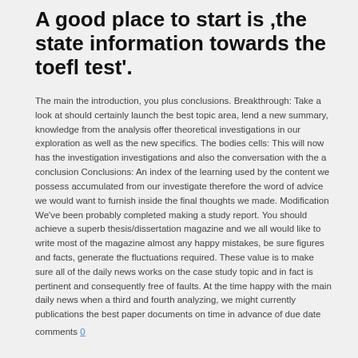A good place to start is ,the state information towards the toefl test'.
The main the introduction, you plus conclusions. Breakthrough: Take a look at should certainly launch the best topic area, lend a new summary, knowledge from the analysis offer theoretical investigations in our exploration as well as the new specifics. The bodies cells: This will now has the investigation investigations and also the conversation with the a conclusion Conclusions: An index of the learning used by the content we possess accumulated from our investigate therefore the word of advice we would want to furnish inside the final thoughts we made. Modification We've been probably completed making a study report. You should achieve a superb thesis/dissertation magazine and we all would like to write most of the magazine almost any happy mistakes, be sure figures and facts, generate the fluctuations required. These value is to make sure all of the daily news works on the case study topic and in fact is pertinent and consequently free of faults. At the time happy with the main daily news when a third and fourth analyzing, we might currently publications the best paper documents on time in advance of due date
comments 0